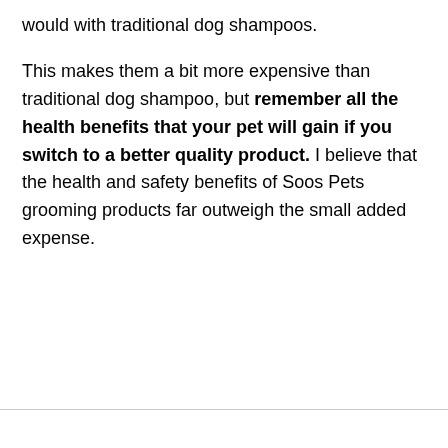would with traditional dog shampoos.
This makes them a bit more expensive than traditional dog shampoo, but remember all the health benefits that your pet will gain if you switch to a better quality product. I believe that the health and safety benefits of Soos Pets grooming products far outweigh the small added expense.